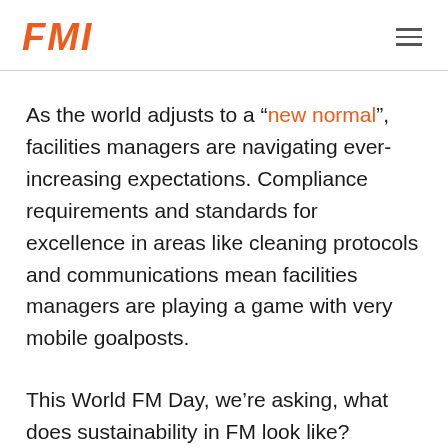FMI
As the world adjusts to a “new normal”, facilities managers are navigating ever-increasing expectations. Compliance requirements and standards for excellence in areas like cleaning protocols and communications mean facilities managers are playing a game with very mobile goalposts.
This World FM Day, we’re asking, what does sustainability in FM look like?